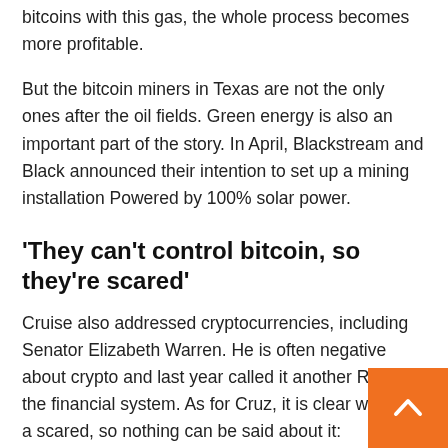bitcoins with this gas, the whole process becomes more profitable.
But the bitcoin miners in Texas are not the only ones after the oil fields. Green energy is also an important part of the story. In April, Blackstream and Black announced their intention to set up a mining installation Powered by 100% solar power.
‘They can’t control bitcoin, so they’re scared’
Cruise also addressed cryptocurrencies, including Senator Elizabeth Warren. He is often negative about crypto and last year called it another Risk to the financial system. As for Cruz, it is clear why they a scared, so nothing can be said about it: